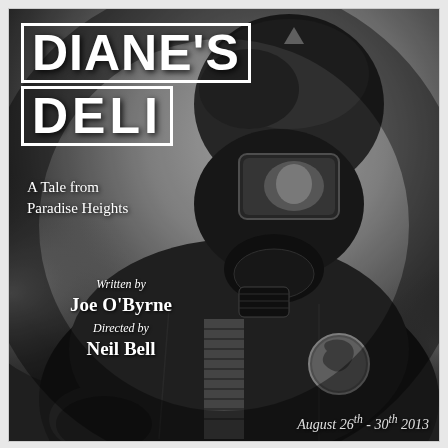[Figure (photo): Black and white photo of a person wearing a gas mask and leather jacket with an Ireland badge/pin, looking downward. Dramatic, moody lighting with smoke or haze in the background.]
DIANE'S DELI
A Tale from Paradise Heights
Written by
Joe O'Byrne
Directed by
Neil Bell
August 26th - 30th 2013